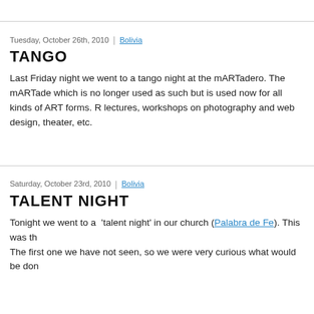Tuesday, October 26th, 2010 | Bolivia
TANGO
Last Friday night we went to a tango night at the mARTadero. The mARTade which is no longer used as such but is used now for all kinds of ART forms. R lectures, workshops on photography and web design, theater, etc.
Saturday, October 23rd, 2010 | Bolivia
TALENT NIGHT
Tonight we went to a 'talent night' in our church (Palabra de Fe). This was th The first one we have not seen, so we were very curious what would be don
Tuesday, August 17th, 2010 | eBooks